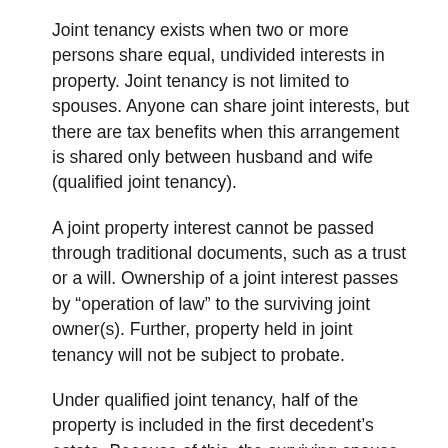Joint tenancy exists when two or more persons share equal, undivided interests in property. Joint tenancy is not limited to spouses. Anyone can share joint interests, but there are tax benefits when this arrangement is shared only between husband and wife (qualified joint tenancy).
A joint property interest cannot be passed through traditional documents, such as a trust or a will. Ownership of a joint interest passes by “operation of law” to the surviving joint owner(s). Further, property held in joint tenancy will not be subject to probate.
Under qualified joint tenancy, half of the property is included in the first decedent’s estate. Because of this, the surviving spouse obtains a stepped-up basis only on the first decedent’s half of the property.
If any nonspouses participate in joint ownership, the